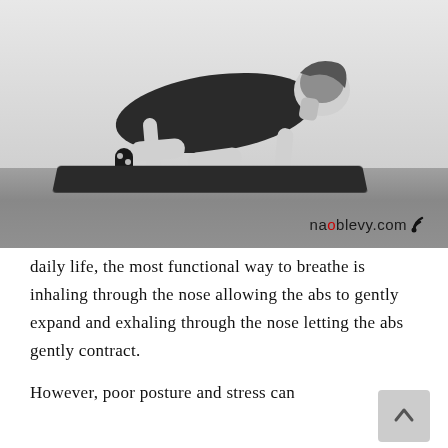[Figure (photo): Black and white photo of a person in a yoga cat-cow pose on all fours on a dark yoga mat on a wood-grain floor. The person wears a dark tank top and patterned leggings/socks. A watermark reads 'naoblevy.com' with a WiFi/RSS icon in the lower right of the photo.]
daily life, the most functional way to breathe is inhaling through the nose allowing the abs to gently expand and exhaling through the nose letting the abs gently contract.
However, poor posture and stress can